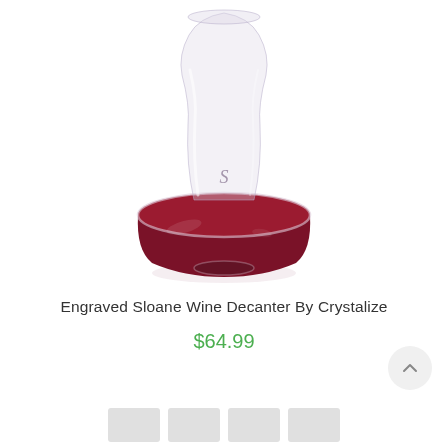[Figure (photo): A glass wine decanter with an engraved letter S on the neck, wide round base filled with red wine, on a white background.]
Engraved Sloane Wine Decanter By Crystalize
$64.99